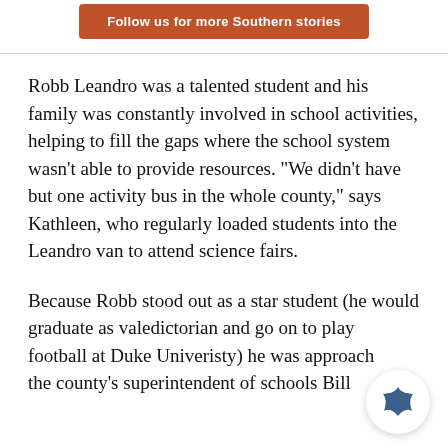[Figure (other): Orange button with white bold text reading 'Follow us for more Southern stories']
Robb Leandro was a talented student and his family was constantly involved in school activities, helping to fill the gaps where the school system wasn't able to provide resources. "We didn't have but one activity bus in the whole county," says Kathleen, who regularly loaded students into the Leandro van to attend science fairs.
Because Robb stood out as a star student (he would graduate as valedictorian and go on to play football at Duke Univeristy) he was approached the county's superintendent of schools Bill